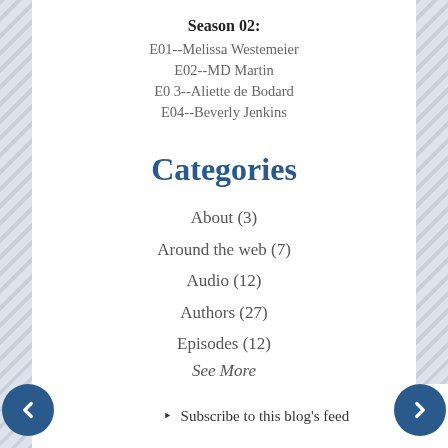Season 02: E01--Melissa Westemeier E02--MD Martin E0 3--Aliette de Bodard E04--Beverly Jenkins
Categories
About (3)
Around the web (7)
Audio (12)
Authors (27)
Episodes (12)
See More
Subscribe to this blog's feed